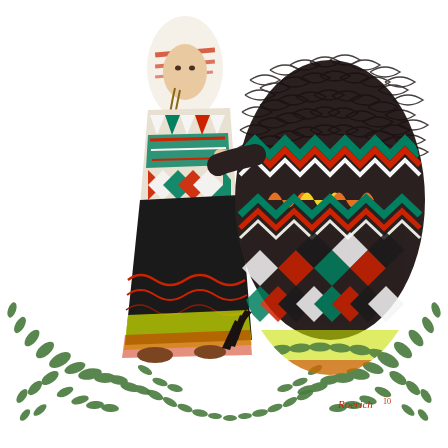[Figure (illustration): A colorful folk-art style illustration showing a woman in traditional Eastern European costume with geometric patterns in red, green, teal, white, and black, standing beside a large bear-like creature covered in dark braided/woven fur with similarly patterned body garments. The scene is surrounded by decorative green leafy olive branches at the bottom. A red artist signature reading 'Roerich' appears at the lower right. The background is white.]